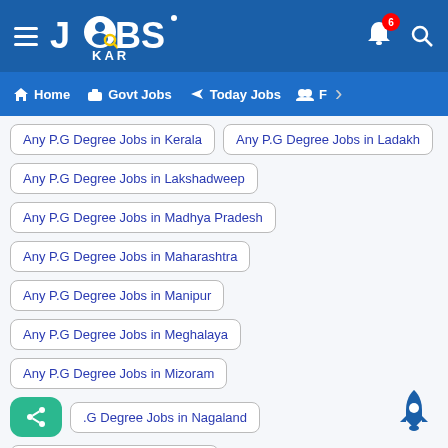[Figure (screenshot): JobsKar app header with hamburger menu, logo, notification bell with badge 6, and search icon]
Home | Govt Jobs | Today Jobs | F >
Any P.G Degree Jobs in Kerala
Any P.G Degree Jobs in Ladakh
Any P.G Degree Jobs in Lakshadweep
Any P.G Degree Jobs in Madhya Pradesh
Any P.G Degree Jobs in Maharashtra
Any P.G Degree Jobs in Manipur
Any P.G Degree Jobs in Meghalaya
Any P.G Degree Jobs in Mizoram
Any P.G Degree Jobs in Nagaland
Any P.G Degree Jobs in Odisha